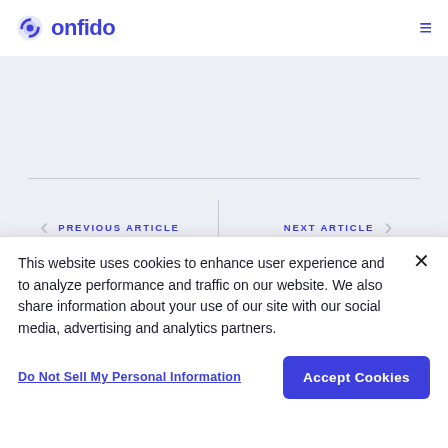onfido
PREVIOUS ARTICLE
NEXT ARTICLE
MOST RECENT ARTICLES
This website uses cookies to enhance user experience and to analyze performance and traffic on our website. We also share information about your use of our site with our social media, advertising and analytics partners.
Do Not Sell My Personal Information
Accept Cookies